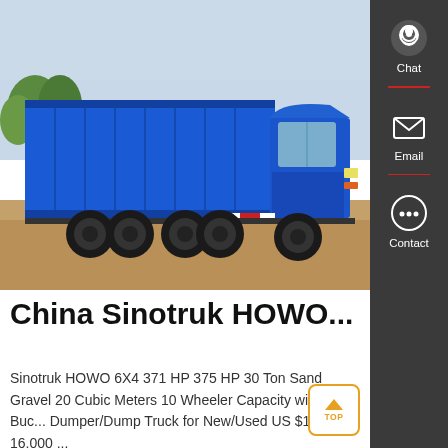[Figure (photo): Blue Sinotruk HOWO dump truck (6x4 configuration) parked on dirt ground with trees in background and light blue sky. Multiple blue dump trucks visible.]
China Sinotruk HOWO...
Sinotruk HOWO 6X4 371 HP 375 HP 30 Ton Sand Gravel 20 Cubic Meters 10 Wheeler Capacity with New Buc... Dumper/Dump Truck for New/Used US $12,000-16,000 ...